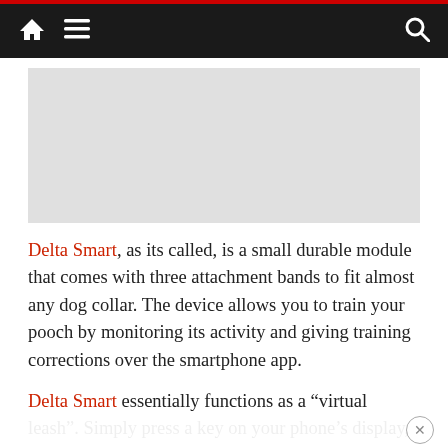Navigation bar with home, menu, and search icons
[Figure (photo): Placeholder image area (light gray rectangle)]
Delta Smart, as its called, is a small durable module that comes with three attachment bands to fit almost any dog collar. The device allows you to train your pooch by monitoring its activity and giving training corrections over the smartphone app.
Delta Smart essentially functions as a “virtual leash”. Simply press a key on your phone’s display, and your pet will receive a vibration, tone alert or corrective stimulation from the electronic collar. The signal distracts your dog providing a deterrent